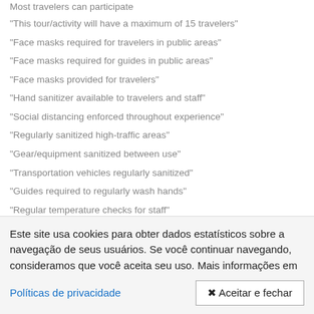Most travelers can participate
"This tour/activity will have a maximum of 15 travelers"
"Face masks required for travelers in public areas"
"Face masks required for guides in public areas"
"Face masks provided for travelers"
"Hand sanitizer available to travelers and staff"
"Social distancing enforced throughout experience"
"Regularly sanitized high-traffic areas"
"Gear/equipment sanitized between use"
"Transportation vehicles regularly sanitized"
"Guides required to regularly wash hands"
"Regular temperature checks for staff"
"Temperature checks for travelers upon arrival"
"[truncated — partially visible]"
Este site usa cookies para obter dados estatísticos sobre a navegação de seus usuários. Se você continuar navegando, consideramos que você aceita seu uso. Mais informações em
Políticas de privacidade
🗶 Aceitar e fechar